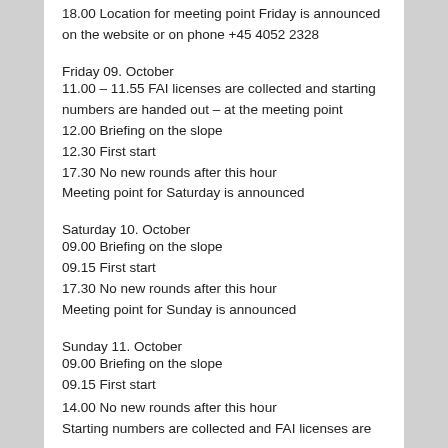18.00 Location for meeting point Friday is announced on the website or on phone +45 4052 2328
Friday 09. October
11.00 – 11.55 FAI licenses are collected and starting numbers are handed out – at the meeting point
12.00 Briefing on the slope
12.30 First start
17.30 No new rounds after this hour
Meeting point for Saturday is announced
Saturday 10. October
09.00 Briefing on the slope
09.15 First start
17.30 No new rounds after this hour
Meeting point for Sunday is announced
Sunday 11. October
09.00 Briefing on the slope
09.15 First start
14.00 No new rounds after this hour
Starting numbers are collected and FAI licenses are